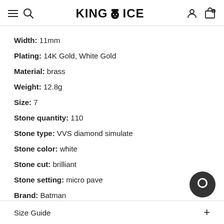KING ICE
Width: 11mm
Plating: 14K Gold, White Gold
Material: brass
Weight: 12.8g
Size: 7
Stone quantity: 110
Stone type: VVS diamond simulate
Stone color: white
Stone cut: brilliant
Stone setting: micro pave
Brand: Batman
Size Guide